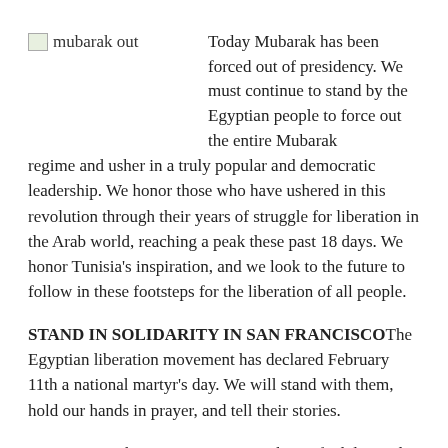[Figure (photo): Broken image placeholder labeled 'mubarak out']
Today Mubarak has been forced out of presidency. We must continue to stand by the Egyptian people to force out the entire Mubarak regime and usher in a truly popular and democratic leadership. We honor those who have ushered in this revolution through their years of struggle for liberation in the Arab world, reaching a peak these past 18 days. We honor Tunisia's inspiration, and we look to the future to follow in these footsteps for the liberation of all people.
STAND IN SOLIDARITY IN SAN FRANCISCOThe Egyptian liberation movement has declared February 11th a national martyr's day. We will stand with them, hold our hands in prayer, and tell their stories.
Our primary objective is to support the unified demands